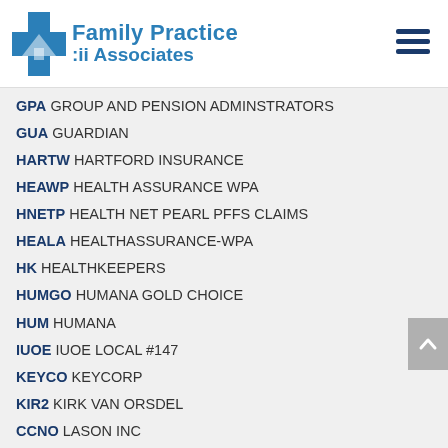[Figure (logo): Family Practice Associates logo with blue cross and text]
GPA GROUP AND PENSION ADMINSTRATORS
GUA GUARDIAN
HARTW HARTFORD INSURANCE
HEAWP HEALTH ASSURANCE WPA
HNETP HEALTH NET PEARL PFFS CLAIMS
HEALA HEALTHASSURANCE-WPA
HK HEALTHKEEPERS
HUMGO HUMANA GOLD CHOICE
HUM HUMANA
IUOE IUOE LOCAL #147
KEYCO KEYCORP
KIR2 KIRK VAN ORSDEL
CCNO LASON INC
LBWC LIBERTY MUTUAL